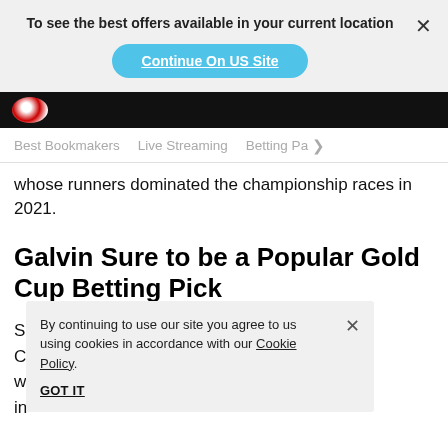To see the best offers available in your current location
Continue On US Site
Best Bookmakers   Live Streaming   Betting Pa >
whose runners dominated the championship races in 2021.
Galvin Sure to be a Popular Gold Cup Betting Pick
By continuing to use our site you agree to us using cookies in accordance with our Cookie Policy.
GOT IT
2021 National Hunt C... the question was w... to be competitive in...